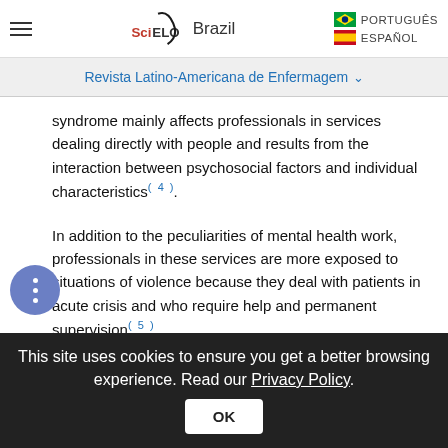SciELO Brazil | PORTUGUÊS | ESPAÑOL
Revista Latino-Americana de Enfermagem
syndrome mainly affects professionals in services dealing directly with people and results from the interaction between psychosocial factors and individual characteristics( 4 ).
In addition to the peculiarities of mental health work, professionals in these services are more exposed to situations of violence because they deal with patients in acute crisis and who require help and permanent supervision( 5 ).
Psychosocial factors, work-related stress, violence
This site uses cookies to ensure you get a better browsing experience. Read our Privacy Policy. OK